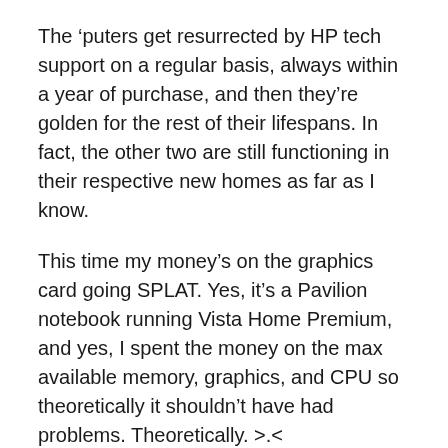The ‘puters get resurrected by HP tech support on a regular basis, always within a year of purchase, and then they’re golden for the rest of their lifespans. In fact, the other two are still functioning in their respective new homes as far as I know.
This time my money’s on the graphics card going SPLAT. Yes, it’s a Pavilion notebook running Vista Home Premium, and yes, I spent the money on the max available memory, graphics, and CPU so theoretically it shouldn’t have had problems. Theoretically. >.<
Anyway, the computer had a few self-resolved graphics card driver crashes while playing Guild Wars that seemed to have been triggered by overheating, so I got a cooling fan to sit underneath the thing. The fan appeared to solve the problem so I figured we were good. Also Greg and I